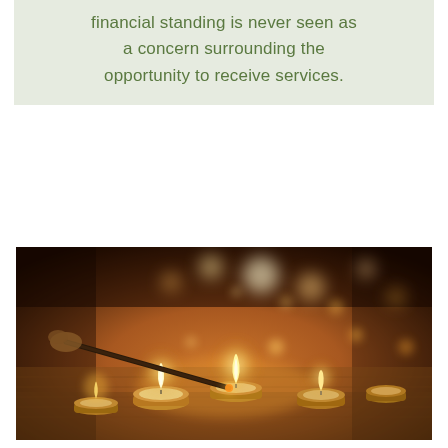financial standing is never seen as a concern surrounding the opportunity to receive services.
[Figure (photo): A hand holding a long match or lighter stick lighting small tealight candles arranged on a burlap cloth. Warm golden bokeh candle lights glow softly in the background.]